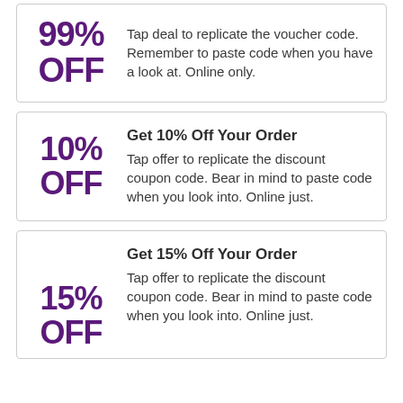99% OFF — Tap deal to replicate the voucher code. Remember to paste code when you have a look at. Online only.
Get 10% Off Your Order
10% OFF — Tap offer to replicate the discount coupon code. Bear in mind to paste code when you look into. Online just.
Get 15% Off Your Order
15% OFF — Tap offer to replicate the discount coupon code. Bear in mind to paste code when you look into. Online just.